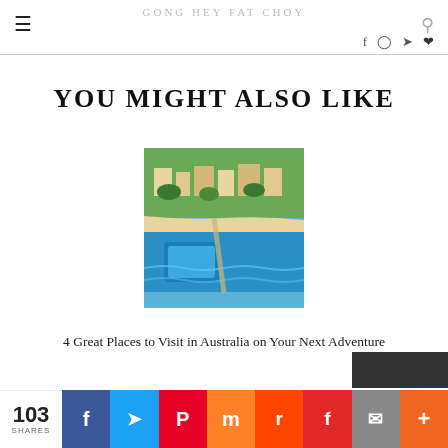GONG HEY FAT CHOY
YOU MIGHT ALSO LIKE
[Figure (photo): Aerial view of a coastal Australian location with buildings, a beach, ocean pool and turquoise water]
4 Great Places to Visit in Australia on Your Next Adventure
103 SHARES | Facebook | Twitter | Pinterest | Mix | Reddit | Flipboard | Email | More